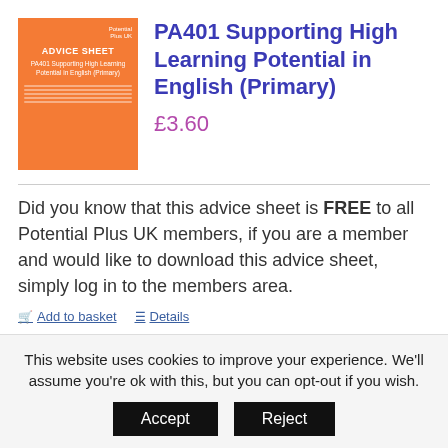[Figure (illustration): Orange book cover with 'ADVICE SHEET' title and 'PA401 Supporting High Learning Potential in English (Primary)' subtitle]
PA401 Supporting High Learning Potential in English (Primary)
£3.60
Did you know that this advice sheet is FREE to all Potential Plus UK members, if you are a member and would like to download this advice sheet, simply log in to the members area.
Add to basket   Details
This website uses cookies to improve your experience. We'll assume you're ok with this, but you can opt-out if you wish.
Accept   Reject